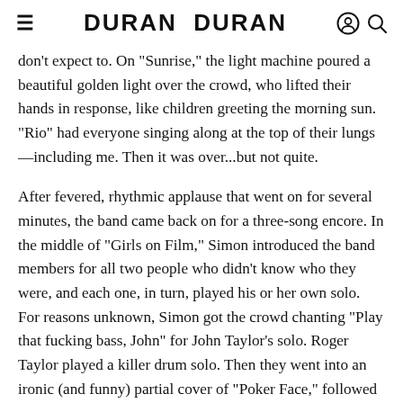≡  DURAN DURAN  [user icon] [search icon]
don't expect to. On "Sunrise," the light machine poured a beautiful golden light over the crowd, who lifted their hands in response, like children greeting the morning sun. "Rio" had everyone singing along at the top of their lungs—including me. Then it was over...but not quite.
After fevered, rhythmic applause that went on for several minutes, the band came back on for a three-song encore. In the middle of "Girls on Film," Simon introduced the band members for all two people who didn't know who they were, and each one, in turn, played his or her own solo. For reasons unknown, Simon got the crowd chanting "Play that fucking bass, John" for John Taylor's solo. Roger Taylor played a killer drum solo. Then they went into an ironic (and funny) partial cover of "Poker Face," followed by the rest of "Girls on Film"—with a surprising amount of energy for a bunch of guys in their 50s who'd just been playing their